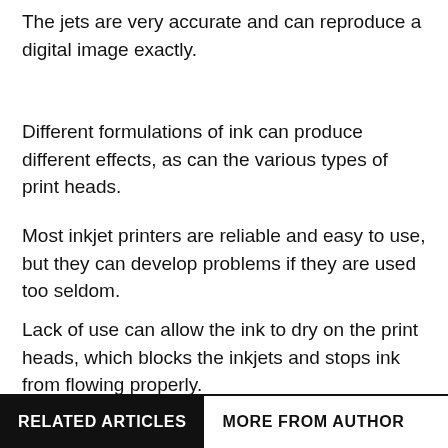The jets are very accurate and can reproduce a digital image exactly.
Different formulations of ink can produce different effects, as can the various types of print heads.
Most inkjet printers are reliable and easy to use, but they can develop problems if they are used too seldom.
Lack of use can allow the ink to dry on the print heads, which blocks the inkjets and stops ink from flowing properly.
The key to owning an inkjet printer is to use it on a regular basis to prevent this from happening.
RELATED ARTICLES	MORE FROM AUTHOR